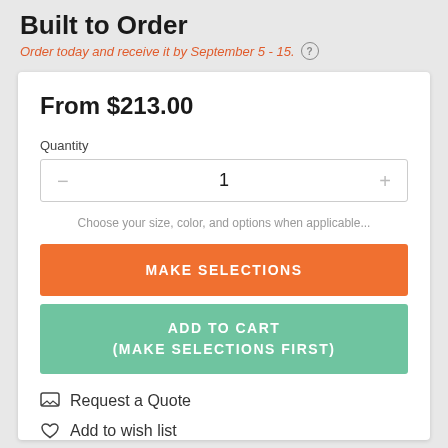Built to Order
Order today and receive it by September 5 - 15.
From $213.00
Quantity
1
Choose your size, color, and options when applicable...
MAKE SELECTIONS
ADD TO CART
(MAKE SELECTIONS FIRST)
Request a Quote
Add to wish list